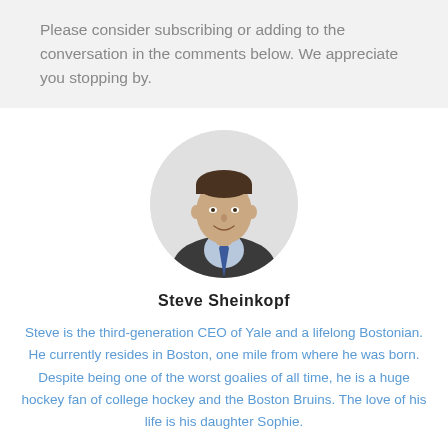Please consider subscribing or adding to the conversation in the comments below. We appreciate you stopping by.
[Figure (photo): Circular headshot of Steve Sheinkopf, a man in a dark suit with a blue tie, smiling.]
Steve Sheinkopf
Steve is the third-generation CEO of Yale and a lifelong Bostonian. He currently resides in Boston, one mile from where he was born. Despite being one of the worst goalies of all time, he is a huge hockey fan of college hockey and the Boston Bruins. The love of his life is his daughter Sophie.